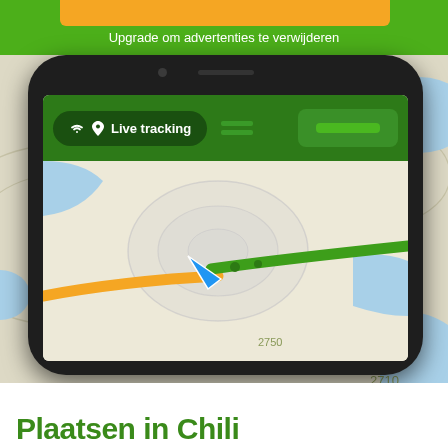Upgrade om advertenties te verwijderen
[Figure (screenshot): A smartphone displaying a GPS/navigation app with 'Live tracking' feature. The phone screen shows a map with an orange road, a green road, and a blue navigation arrow cursor. The background also shows a larger map view. The app header shows 'Live tracking' button in dark green.]
Plaatsen in Chili